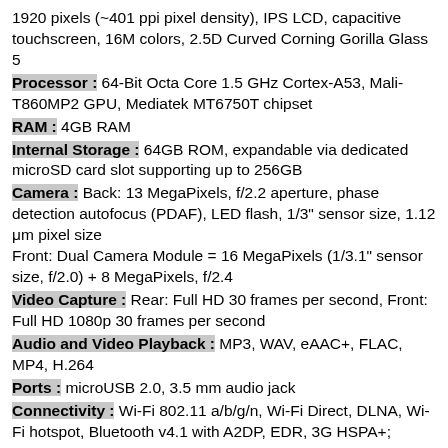1920 pixels (~401 ppi pixel density), IPS LCD, capacitive touchscreen, 16M colors, 2.5D Curved Corning Gorilla Glass 5
Processor : 64-Bit Octa Core 1.5 GHz Cortex-A53, Mali-T860MP2 GPU, Mediatek MT6750T chipset
RAM : 4GB RAM
Internal Storage : 64GB ROM, expandable via dedicated microSD card slot supporting up to 256GB
Camera : Back: 13 MegaPixels, f/2.2 aperture, phase detection autofocus (PDAF), LED flash, 1/3" sensor size, 1.12 μm pixel size
Front: Dual Camera Module = 16 MegaPixels (1/3.1" sensor size, f/2.0) + 8 MegaPixels, f/2.4
Video Capture : Rear: Full HD 30 frames per second, Front: Full HD 1080p 30 frames per second
Audio and Video Playback : MP3, WAV, eAAC+, FLAC, MP4, H.264
Ports : microUSB 2.0, 3.5 mm audio jack
Connectivity : Wi-Fi 802.11 a/b/g/n, Wi-Fi Direct, DLNA, Wi-Fi hotspot, Bluetooth v4.1 with A2DP, EDR, 3G HSPA+;